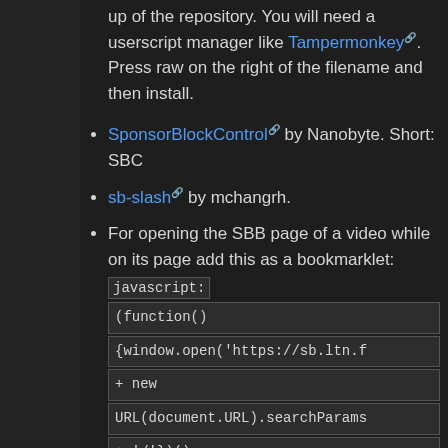up of the repository. You will need a userscript manager like Tampermonkey. Press raw on the right of the filename and then install.
SponsorBlockControl by Nanobyte. Short: SBC
sb-slash by mchangrh.
For opening the SBB page of a video while on its page add this as a bookmarklet: javascript:(function(){window.open('https://sb.ltn.f + new URL(document.URL).searchParams + '/'})()
🟩 is commonly used to show support for a message, supporting a ban or another action taken while 🟥 is used to show confirmation, that a video in